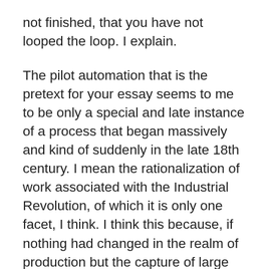not finished, that you have not looped the loop. I explain.
The pilot automation that is the pretext for your essay seems to me to be only a special and late instance of a process that began massively and kind of suddenly in the late 18th century. I mean the rationalization of work associated with the Industrial Revolution, of which it is only one facet, I think. I think this because, if nothing had changed in the realm of production but the capture of large amounts of inanimate power, the world would have still experienced a big economic growth spurt. The rationalization of production disciplines addition…